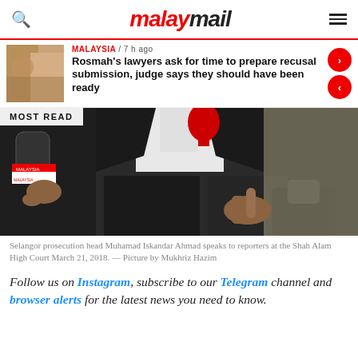malaymail
Rosmah's lawyers ask for time to prepare recusal submission, judge says they should have been ready
[Figure (photo): Selangor prosecution head Muhamad Iskandar Ahmad speaks to reporters at the Shah Alam High Court March 21, 2018, wearing legal robes and holding a microphone]
Selangor prosecution head Muhamad Iskandar Ahmad speaks to reporters at the Shah Alam High Court March 21, 2018. — Picture by Mukhriz Hazim
Follow us on Instagram, subscribe to our Telegram channel and browser alerts for the latest news you need to know.